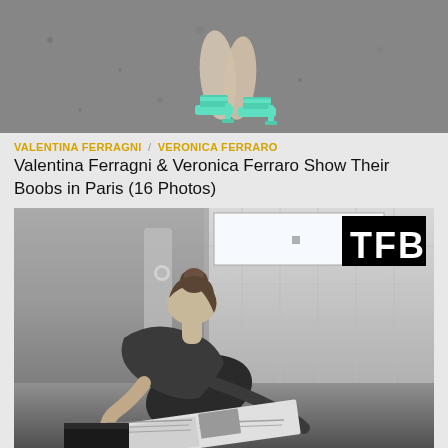[Figure (photo): Top portion of a photo showing feet wearing mint/turquoise open-toe heeled sandals on a gray textured ground surface]
VALENTINA FERRAGNI / VERONICA FERRARO
Valentina Ferragni & Veronica Ferraro Show Their Boobs in Paris (16 Photos)
[Figure (photo): Black and white photograph of a woman with hair in a bun, leaning forward reading a newspaper, appears to be in a marble bathroom. TFB logo watermark in top right corner.]